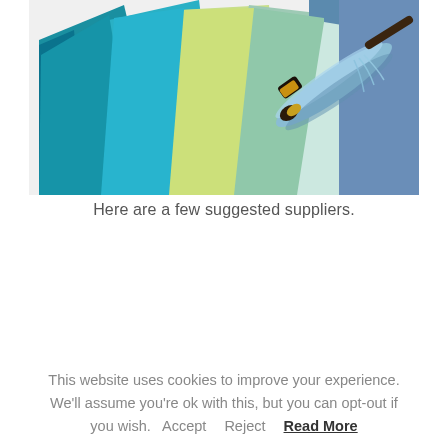[Figure (photo): Fan of colorful felt fabric swatches in shades of teal, blue, green, yellow-green, and light blue, with a skein of light blue embroidery thread/floss resting on top, photographed on a white background.]
Here are a few suggested suppliers.
This website uses cookies to improve your experience. We'll assume you're ok with this, but you can opt-out if you wish. Accept Reject Read More